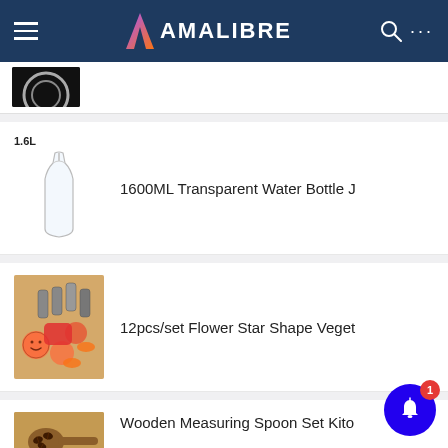AMALIBRE
[Figure (photo): Partial product image - black background with a circular object, partially visible at top of scroll]
[Figure (photo): 1600ML Transparent Water Bottle - clear glass carafe/jug with narrow neck, white background, labeled 1.6L]
1600ML Transparent Water Bottle J
[Figure (photo): 12pcs/set Flower Star Shape Vegetable/food cutters set - pink and stainless steel cookie cutters on wooden board with carrots and food items]
12pcs/set Flower Star Shape Veget
[Figure (photo): Wooden Measuring Spoon Set - wooden spoon with coffee beans on wooden board, partially visible]
Wooden Measuring Spoon Set Kito